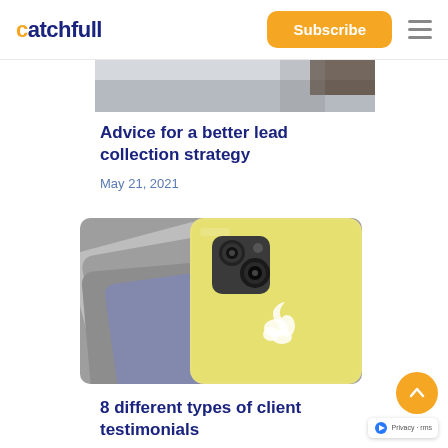catchfull — Subscribe
[Figure (photo): Partial top image — cropped photo showing a person partially visible, gray/white tones, at the top of the page below the header]
Advice for a better lead collection strategy
May 21, 2021
[Figure (photo): Photo of multiple iPhones including a yellow iPhone 11 with dual cameras and Apple logo visible, with other gray/colored iPhones in the background]
8 different types of client testimonials